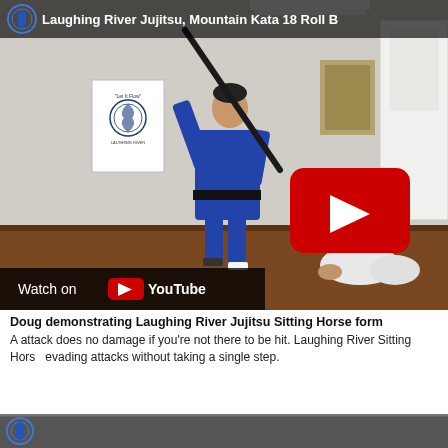[Figure (screenshot): YouTube video thumbnail showing a man in a blue judo gi demonstrating a martial arts technique with a black staff/stick, with another person on the ground to the right. A Laughing River Jujitsu poster is visible on the wall. The video has a YouTube play button overlay and shows 'Watch on YouTube' bar at the bottom. Title bar reads 'Laughing River Jujitsu, Mountain Kata 18 Roll B']
Doug demonstrating Laughing River Jujitsu Sitting Horse form
A attack does no damage if you're not there to be hit. Laughing River Sitting Horse evading attacks without taking a single step.
[Figure (screenshot): Partial bottom strip showing the start of another YouTube video thumbnail with a blue circular logo (Laughing River Jujitsu)]